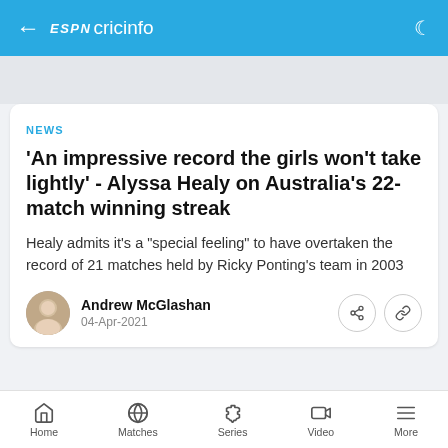ESPN cricinfo
NEWS
'An impressive record the girls won't take lightly' - Alyssa Healy on Australia's 22-match winning streak
Healy admits it's a "special feeling" to have overtaken the record of 21 matches held by Ricky Ponting's team in 2003
Andrew McGlashan
04-Apr-2021
Home  Matches  Series  Video  More